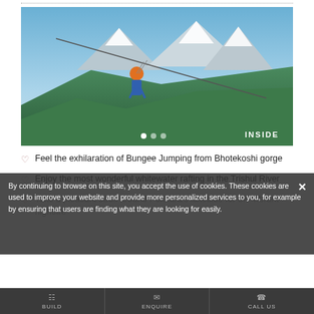[Figure (photo): Person zip-lining or bungee jumping from a cable above green hills with snow-capped Himalayan mountains (Annapurna range) in the background, blue sky. Slider dots (one white active, two grey) at bottom center. 'INSIDE' label at bottom right.]
Feel the exhilaration of Bungee Jumping from Bhotekoshi gorge
Enjoy the most wonderful whitewater rafting in the Trishul River
Take a pleasant stroll around Pokhara's lakeside for the vibrant nightfire
By continuing to browse on this site, you accept the use of cookies. These cookies are used to improve your website and provide more personalized services to you, for example by ensuring that users are finding what they are looking for easily.
BUILD   ENQUIRE   CALL US